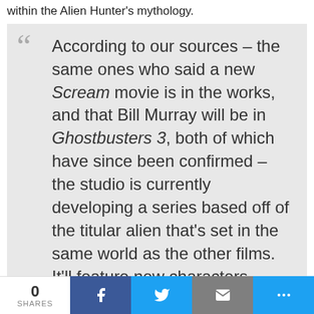within the Alien Hunter's mythology.
According to our sources – the same ones who said a new Scream movie is in the works, and that Bill Murray will be in Ghostbusters 3, both of which have since been confirmed – the studio is currently developing a series based off of the titular alien that's set in the same world as the other films. It'll feature new characters, along with an entirely unique story, though, and while it's unclear how exactly it'll tie into the overall mythology, there will definitely be some connections
0 SHARES | Facebook | Twitter | Email | More